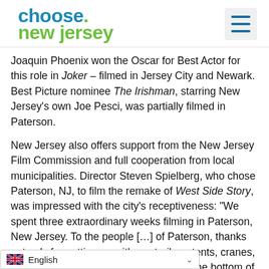[Figure (logo): Choose New Jersey logo with blue 'choose.' text and green 'new jersey' text, plus hamburger menu icon]
Joaquin Phoenix won the Oscar for Best Actor for this role in Joker – filmed in Jersey City and Newark. Best Picture nominee The Irishman, starring New Jersey's own Joe Pesci, was partially filmed in Paterson.
New Jersey also offers support from the New Jersey Film Commission and full cooperation from local municipalities. Director Steven Spielberg, who chose Paterson, NJ, to film the remake of West Side Story, was impressed with the city's receptiveness: "We spent three extraordinary weeks filming in Paterson, New Jersey. To the people [...] of Paterson, thanks not only for putting up with our trailers, tents, cranes, and mid-street dance sequences; from the bottom of my heart, thanks for the warm welcomes we encountered everywhere, from pedestrians and policemen and neighborhoods and ki... de our musical without you."
[Figure (other): Language selector bar showing UK flag and 'English' text with dropdown arrow]